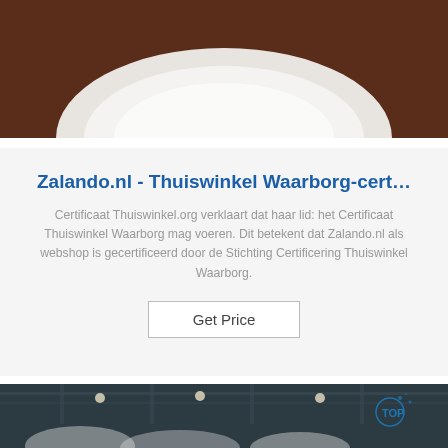[Figure (photo): Top portion of image showing a white circular object on a dark brown background]
Zalando.nl - Thuiswinkel Waarborg-cert…
Certificaat Thuiswinkel.org verklaart dat haar lid: het Certificaat Thuiswinkel Waarborg mag voeren. Dit betekent dat Zalando.nl als webshop is gecertificeerd door de Stichting Certificering Thuiswinkel Waarborg.
Get Price
[Figure (photo): Industrial warehouse interior with large rolls of material on the floor and a 'TOP' logo watermark in the upper right corner]